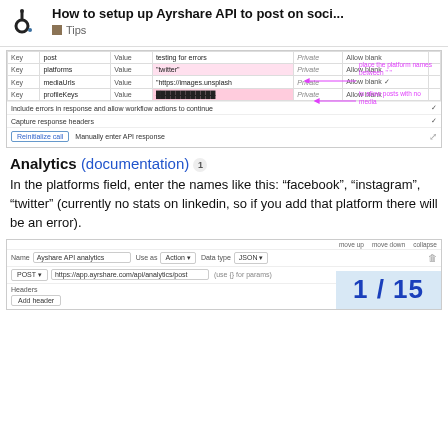How to setup up Ayrshare API to post on soci... | Tips
[Figure (screenshot): API configuration table showing Key/Value rows for post, platforms, mediaUrls, profileKeys with annotations in magenta: 'place the platform names between " "' and 'to allow posts with no media'. Includes checkboxes for 'Include errors in response' and 'Capture response headers', a 'Reinitialize call' button, and 'Manually enter API response' text.]
Analytics (documentation) 1
In the platforms field, enter the names like this: “facebook”, “instagram”, “twitter” (currently no stats on linkedin, so if you add that platform there will be an error).
[Figure (screenshot): API call configuration panel showing: move up / move down / collapse controls, Name field with 'Ayshare API analytics', Use as: Action, Data type: JSON, POST method with URL https://app.ayrshare.com/api/analytics/post, (use {} for params), Headers section with Add header button. Page number overlay showing '1 / 15' in blue on light blue background.]